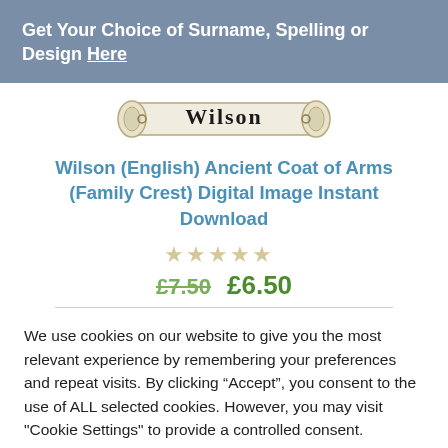Get Your Choice of Surname, Spelling or Design Here
[Figure (illustration): A decorative scroll/banner image with the name 'Wilson' written in gothic blackletter font, with ornamental scroll ends on both sides.]
Wilson (English) Ancient Coat of Arms (Family Crest) Digital Image Instant Download
[Figure (other): Five empty star rating icons in light grey/beige color]
£7.50  £6.50
We use cookies on our website to give you the most relevant experience by remembering your preferences and repeat visits. By clicking “Accept”, you consent to the use of ALL selected cookies. However, you may visit "Cookie Settings" to provide a controlled consent.